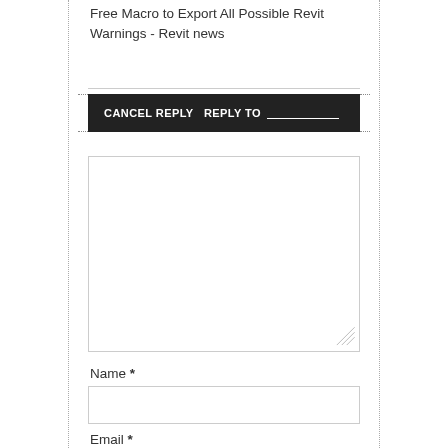Free Macro to Export All Possible Revit Warnings - Revit news
CANCEL REPLY  REPLY TO ___________
[Figure (screenshot): Comment textarea input box with resize handle]
Name *
[Figure (screenshot): Name input field (empty text box)]
Email *